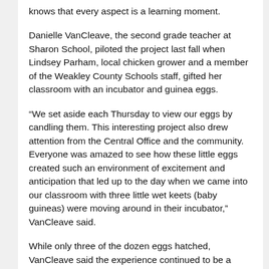knows that every aspect is a learning moment.
Danielle VanCleave, the second grade teacher at Sharon School, piloted the project last fall when Lindsey Parham, local chicken grower and a member of the Weakley County Schools staff, gifted her classroom with an incubator and guinea eggs.
“We set aside each Thursday to view our eggs by candling them. This interesting project also drew attention from the Central Office and the community. Everyone was amazed to see how these little eggs created such an environment of excitement and anticipation that led up to the day when we came into our classroom with three little wet keets (baby guineas) were moving around in their incubator,” VanCleave said.
While only three of the dozen eggs hatched, VanCleave said the experience continued to be a learning one as students opened the remaining eggs to see the various stages of development.
She called the entire experience “education at its finest” and proudly shares the assessment of one student who said “This is the best class ever!”